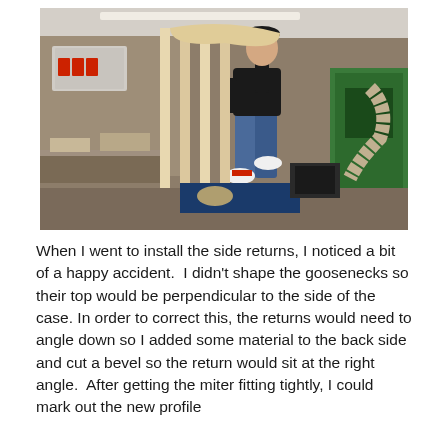[Figure (photo): A person standing on top of a large wooden cabinet frame structure in a woodworking shop, reaching up to adjust or fit a curved wooden piece. The workshop contains various woodworking machinery and tools. A sign reading 'FPC' is visible on the left wall.]
When I went to install the side returns, I noticed a bit of a happy accident.  I didn't shape the goosenecks so their top would be perpendicular to the side of the case. In order to correct this, the returns would need to angle down so I added some material to the back side and cut a bevel so the return would sit at the right angle.  After getting the miter fitting tightly, I could mark out the new profile by and let the profile of the goosenecks. Then the